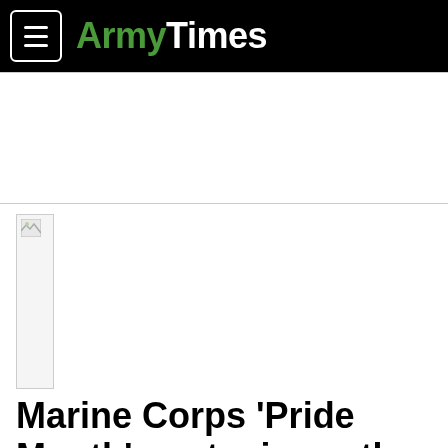ArmyTimes
[Figure (photo): Broken image placeholder thumbnail on the left side of the article]
Marine Corps 'Pride Month' post misses the mark
By Sarah Sicard
Thursday, Jun 2